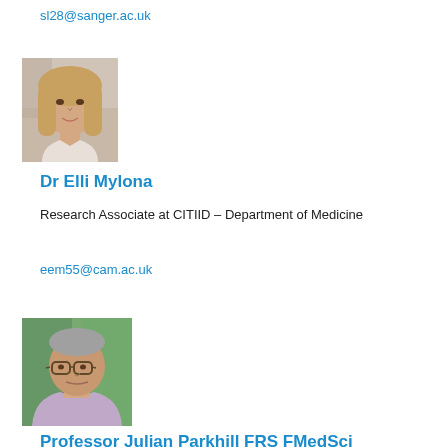sl28@sanger.ac.uk
[Figure (photo): Headshot photo of Dr Elli Mylona, a young woman with long light brown hair, smiling, indoor background]
Dr Elli Mylona
Research Associate at CITIID – Department of Medicine
eem55@cam.ac.uk
[Figure (photo): Headshot photo of Professor Julian Parkhill, an older man with glasses and short grey hair, wearing a light purple shirt, indoor background]
Professor Julian Parkhill FRS FMedSci